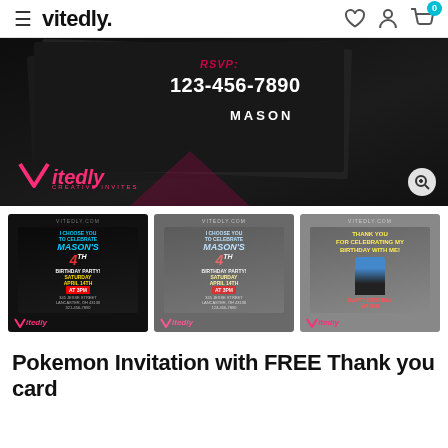vitedly.
[Figure (photo): Main product image showing Pokemon birthday invitation on a dark/black background with RSVP: 123-456-7890 and name MASON, with Vitedly Creative Invites logo watermark]
[Figure (photo): Thumbnail of Pokemon birthday invitation - dark/black version for Mason's 4th birthday party, Saturday April 14th at 3PM, 345 Jesse Street Lancaster OH 43130, 321-456-7890]
[Figure (photo): Thumbnail of Pokemon birthday invitation - faded/gray version for Mason's 4th birthday party]
[Figure (photo): Thumbnail of Pokemon thank you card - gray background version with Pikachu and Ash]
Pokemon Invitation with FREE Thank you card